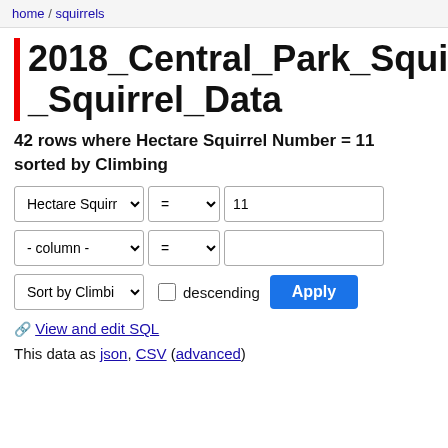home / squirrels
2018_Central_Park_Squirre_Squirrel_Data
42 rows where Hectare Squirrel Number = 11 sorted by Climbing
Hectare Squirr = ▼ 11
- column - ▼ = ▼
Sort by Climbi  ☐ descending  Apply
🔗 View and edit SQL
This data as json, CSV (advanced)